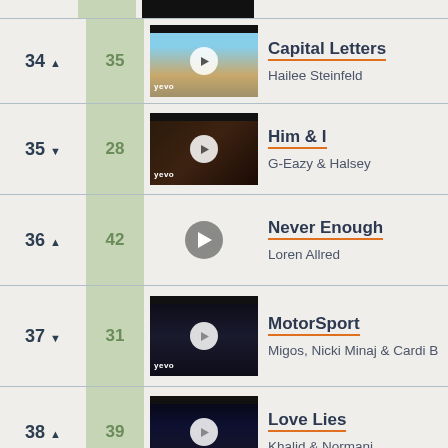34 ▲ | 35 | Capital Letters | Hailee Steinfeld
35 ▼ | 28 | Him & I | G-Eazy & Halsey
36 ▲ | 42 | Never Enough | Loren Allred
37 ▼ | 31 | MotorSport | Migos, Nicki Minaj & Cardi B
38 ▲ | 39 | Love Lies | Khalid & Normani